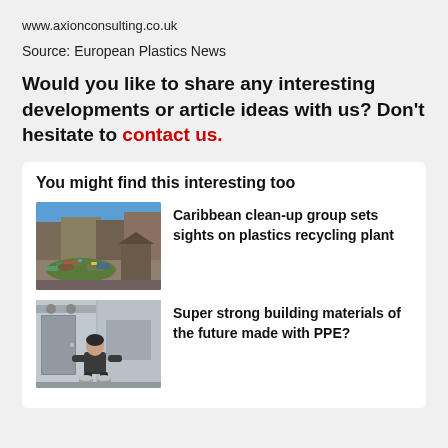www.axionconsulting.co.uk
Source: European Plastics News
Would you like to share any interesting developments or article ideas with us? Don't hesitate to contact us.
You might find this interesting too
[Figure (photo): Street scene with scattered plastic waste and rubbish on a city sidewalk]
Caribbean clean-up group sets sights on plastics recycling plant
[Figure (photo): Person crouching next to cylindrical objects in an industrial or warehouse setting]
Super strong building materials of the future made with PPE?